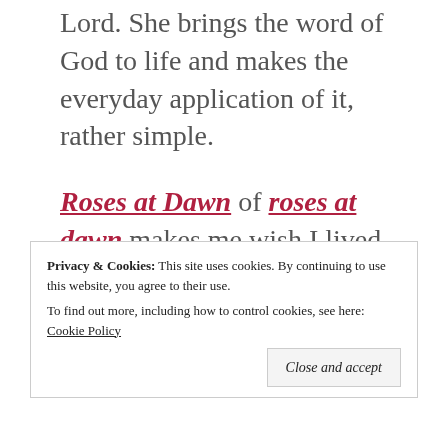Lord. She brings the word of God to life and makes the everyday application of it, rather simple.
Roses at Dawn of roses at dawn makes me wish I lived closer to her. I would so love to hold her hopefully soon (girl, I feel you) to be born, baby. Congratulations again, my friend. She writes about family, faith, life
Privacy & Cookies: This site uses cookies. By continuing to use this website, you agree to their use. To find out more, including how to control cookies, see here: Cookie Policy
Close and accept